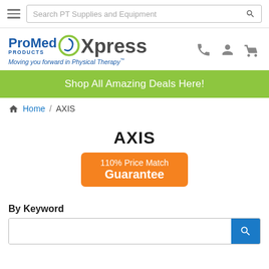[Figure (screenshot): Top navigation bar with hamburger menu, search box for PT Supplies and Equipment, and search icon]
[Figure (logo): ProMed Products Xpress logo with tagline 'Moving you forward in Physical Therapy', phone icon, user icon, and cart icon]
Shop All Amazing Deals Here!
Home / AXIS
AXIS
[Figure (infographic): Orange button with text '110% Price Match Guarantee']
By Keyword
[Figure (screenshot): Keyword search input box with blue search button]